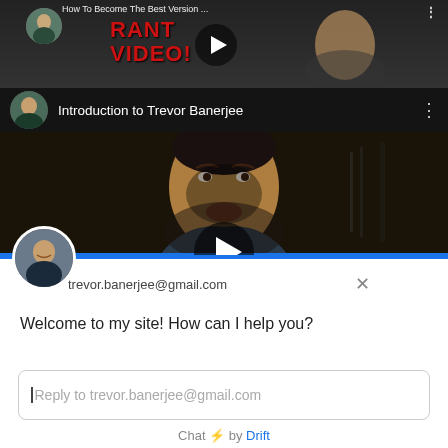[Figure (screenshot): YouTube video thumbnail with 'RANT VIDEO!' text in red, play button, dark background, showing partial face]
[Figure (screenshot): YouTube video embed titled 'Introduction to Trevor Banerjee' with avatar, play button overlay on dark video of person's face]
trevor.banerjee@gmail.com
Welcome to my site! How can I help you?
Reply to trevor.banerjee@gmail.com
Chat ⚡ by Drift